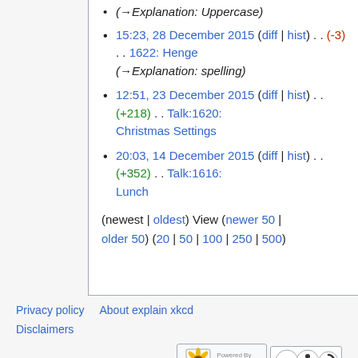(→Explanation: Uppercase)
15:23, 28 December 2015 (diff | hist) . . (-3) . . 1622: Henge (→Explanation: spelling)
12:51, 23 December 2015 (diff | hist) . . (+218) . . Talk:1620: Christmas Settings
20:03, 14 December 2015 (diff | hist) . . (+352) . . Talk:1616: Lunch
(newest | oldest) View (newer 50 | older 50) (20 | 50 | 100 | 250 | 500)
Privacy policy   About explain xkcd
Disclaimers
[Figure (logo): Powered by MediaWiki logo and Creative Commons BY-SA badge]